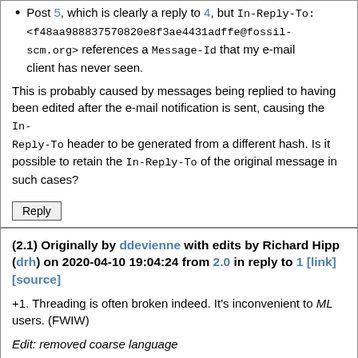Post 5, which is clearly a reply to 4, but In-Reply-To: <f48aa988837570820e8f3ae4431adffe@fossil-scm.org> references a Message-Id that my e-mail client has never seen.
This is probably caused by messages being replied to having been edited after the e-mail notification is sent, causing the In-Reply-To header to be generated from a different hash. Is it possible to retain the In-Reply-To of the original message in such cases?
(2.1) Originally by ddevienne with edits by Richard Hipp (drh) on 2020-04-10 19:04:24 from 2.0 in reply to 1 [link] [source]
+1. Threading is often broken indeed. It's inconvenient to ML users. (FWIW)
Edit: removed coarse language